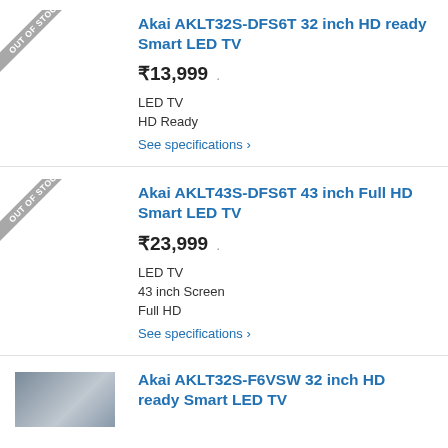[Figure (screenshot): Out of stock badge over product thumbnail area (first product)]
Akai AKLT32S-DFS6T 32 inch HD ready Smart LED TV
₹13,999
LED TV
HD Ready
See specifications ›
[Figure (screenshot): Out of stock badge over product thumbnail area (second product)]
Akai AKLT43S-DFS6T 43 inch Full HD Smart LED TV
₹23,999
LED TV
43 inch Screen
Full HD
See specifications ›
[Figure (photo): Product thumbnail image for third product]
Akai AKLT32S-F6VSW 32 inch HD ready Smart LED TV